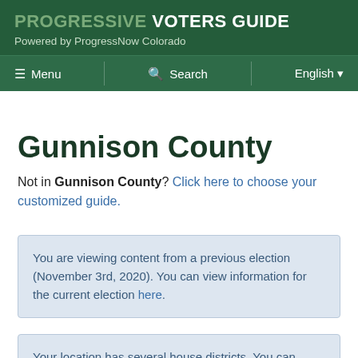PROGRESSIVE VOTERS GUIDE
Powered by ProgressNow Colorado
Menu   Search   English
Gunnison County
Not in Gunnison County? Click here to choose your customized guide.
You are viewing content from a previous election (November 3rd, 2020). You can view information for the current election here.
Your location has several house districts. You can further customize your guide by identifying your